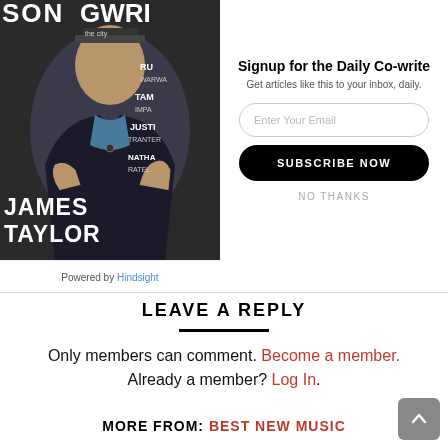[Figure (photo): Magazine cover showing James Taylor on a Songwriter magazine. Text on cover reads SONGWRITER, JAMES TAYLOR, RU, WARWA, TAM, IMPA, JUSTI, TRANTER, NATHA, RATEL, 'the city']
Signup for the Daily Co-write
Get articles like this to your inbox, daily.
Enter Your Email
SUBSCRIBE NOW
NO THANKS
Powered by Hindsight
LEAVE A REPLY
Only members can comment. Become a member. Already a member? Log In.
MORE FROM: BEST NEW MUSIC